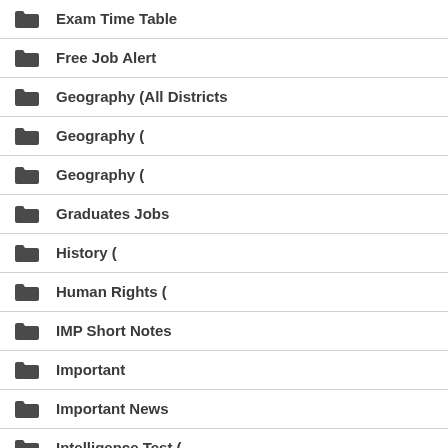Exam Time Table
Free Job Alert
Geography (All Districts
Geography (
Geography (
Graduates Jobs
History (
Human Rights (
IMP Short Notes
Important
Important News
Intelligence Test (